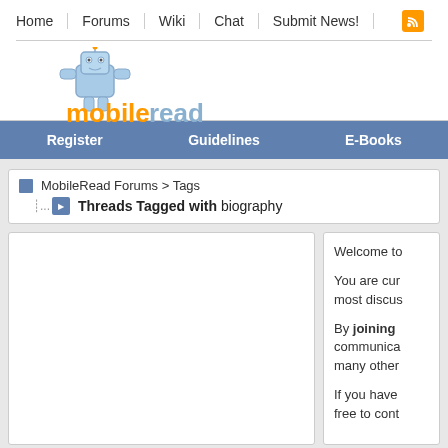Home | Forums | Wiki | Chat | Submit News!
[Figure (logo): MobileRead logo with robot mascot character and orange/blue text reading 'mobileread']
Register | Guidelines | E-Books
MobileRead Forums > Tags
Threads Tagged with biography
Welcome to
You are currently most discussing
By joining communicating many other
If you have free to cont